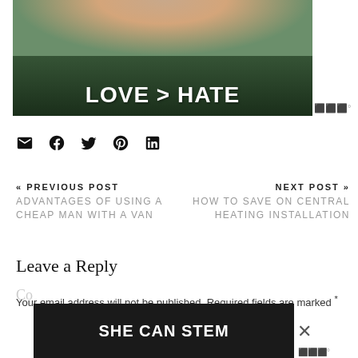[Figure (photo): Two hands forming a heart shape against a blurred green background, with bold white text reading LOVE > HATE overlaid at the bottom]
[Figure (infographic): Social share icons: email, Facebook, Twitter, Pinterest, LinkedIn]
« PREVIOUS POST
ADVANTAGES OF USING A CHEAP MAN WITH A VAN
NEXT POST »
HOW TO SAVE ON CENTRAL HEATING INSTALLATION
Leave a Reply
Your email address will not be published. Required fields are marked *
[Figure (infographic): Dark banner advertisement reading SHE CAN STEM with a close (X) button]